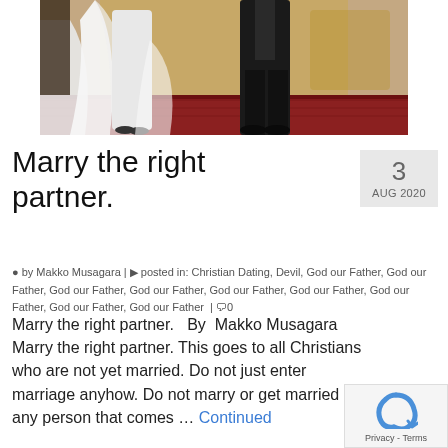[Figure (photo): Wedding photo showing a bride in a white dress and groom in black suit standing on a red carpet, lower bodies only visible]
Marry the right partner.
3 AUG 2020
by Makko Musagara | posted in: Christian Dating, Devil, God our Father, God our Father, God our Father, God our Father, God our Father, God our Father, God our Father, God our Father, God our Father | 0
Marry the right partner.   By  Makko Musagara Marry the right partner. This goes to all Christians who are not yet married. Do not just enter marriage anyhow. Do not marry or get married any person that comes … Continued